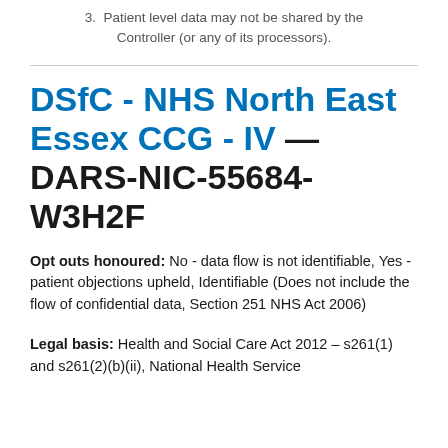3.  Patient level data may not be shared by the Controller (or any of its processors).
DSfC - NHS North East Essex CCG - IV — DARS-NIC-55684-W3H2F
Opt outs honoured: No - data flow is not identifiable, Yes - patient objections upheld, Identifiable (Does not include the flow of confidential data, Section 251 NHS Act 2006)
Legal basis: Health and Social Care Act 2012 – s261(1) and s261(2)(b)(ii), National Health Service